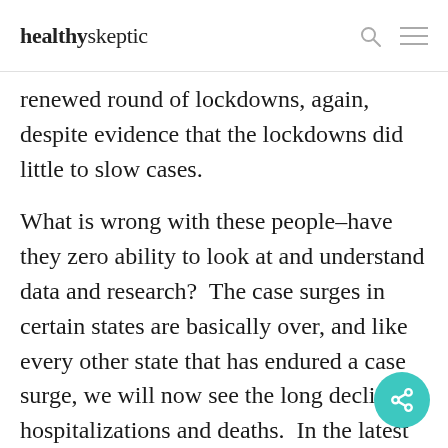healthyskeptic
renewed round of lockdowns, again, despite evidence that the lockdowns did little to slow cases.
What is wrong with these people–have they zero ability to look at and understand data and research?  The case surges in certain states are basically over, and like every other state that has endured a case surge, we will now see the long decline in hospitalizations and deaths.  In the latest wave, those serious outcomes were far lower than in the states